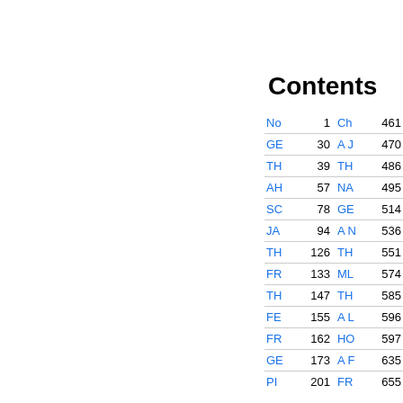Index
Contents
| Left | Page | Right | Page |
| --- | --- | --- | --- |
| No | 1 | Ch | 461 |
| GE | 30 | A J | 470 |
| TH | 39 | TH | 486 |
| AH | 57 | NA | 495 |
| SC | 78 | GE | 514 |
| JA | 94 | A N | 536 |
| TH | 126 | TH | 551 |
| FR | 133 | ML | 574 |
| TH | 147 | TH | 585 |
| FE | 155 | A L | 596 |
| FR | 162 | HO | 597 |
| GE | 173 | A F | 635 |
| PI | 201 | FR | 655 |